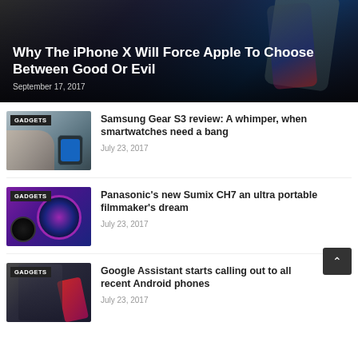[Figure (photo): iPhone X promotional image with dark gradient overlay]
Why The iPhone X Will Force Apple To Choose Between Good Or Evil
September 17, 2017
[Figure (photo): Samsung Gear S3 smartwatch being worn on wrist, with GADGETS badge]
Samsung Gear S3 review: A whimper, when smartwatches need a bang
July 23, 2017
[Figure (photo): Panasonic camera lens with earbuds, with GADGETS badge]
Panasonic's new Sumix CH7 an ultra portable filmmaker's dream
July 23, 2017
[Figure (photo): Person holding red phone, with GADGETS badge]
Google Assistant starts calling out to all recent Android phones
July 23, 2017